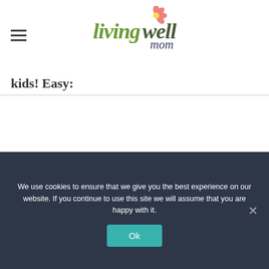living well mom
kids! Easy:
We use cookies to ensure that we give you the best experience on our website. If you continue to use this site we will assume that you are happy with it.